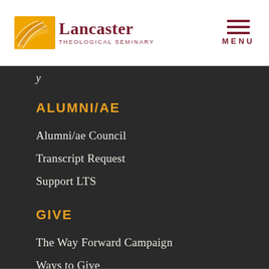[Figure (logo): Lancaster Theological Seminary logo with golden geometric icon and dark red text]
ALUMNI/AE
Alumni/ae Council
Transcript Request
Support LTS
GIVE
The Way Forward Campaign
Ways to Give